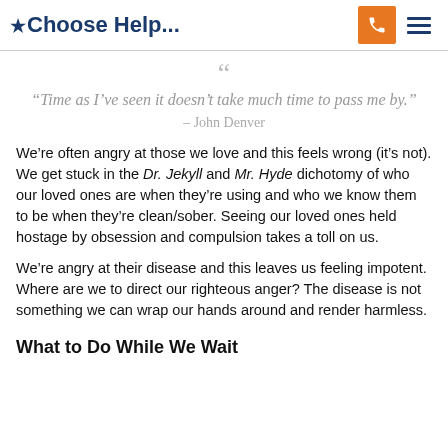*Choose Help...
“Time as I’ve seen it doesn’t take much time to pass me by.” – John Denver
We’re often angry at those we love and this feels wrong (it’s not). We get stuck in the Dr. Jekyll and Mr. Hyde dichotomy of who our loved ones are when they’re using and who we know them to be when they’re clean/sober. Seeing our loved ones held hostage by obsession and compulsion takes a toll on us.
We’re angry at their disease and this leaves us feeling impotent. Where are we to direct our righteous anger? The disease is not something we can wrap our hands around and render harmless.
What to Do While We Wait